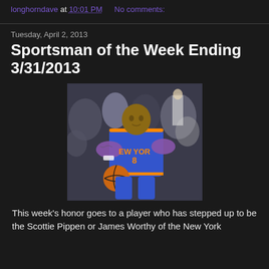longhorndave at 10:01 PM   No comments:
Tuesday, April 2, 2013
Sportsman of the Week Ending 3/31/2013
[Figure (photo): Basketball player in New York Knicks blue uniform number 8, dribbling a basketball, with crowd in background]
This week's honor goes to a player who has stepped up to be the Scottie Pippen or James Worthy of the New York